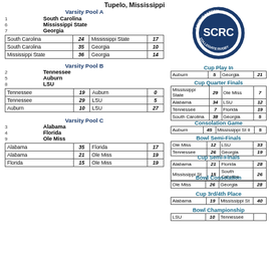Tupelo, Mississippi
Varsity Pool A
1  South Carolina
6  Mississippi State
7  Georgia
| Team1 | Score1 | Team2 | Score2 |
| --- | --- | --- | --- |
| South Carolina | 24 | Mississippi State | 17 |
| South Carolina | 35 | Georgia | 10 |
| Mississippi State | 36 | Georgia | 14 |
Varsity Pool B
2  Tennessee
5  Auburn
8  LSU
| Team1 | Score1 | Team2 | Score2 |
| --- | --- | --- | --- |
| Tennessee | 19 | Auburn | 0 |
| Tennessee | 29 | LSU | 5 |
| Auburn | 10 | LSU | 27 |
Varsity Pool C
3  Alabama
4  Florida
9  Ole Miss
| Team1 | Score1 | Team2 | Score2 |
| --- | --- | --- | --- |
| Alabama | 35 | Florida | 17 |
| Alabama | 21 | Ole Miss | 19 |
| Florida | 15 | Ole Miss | 19 |
[Figure (logo): Southeastern Collegiate Rugby Conference (SCRC) logo - circular blue badge]
Cup Play In
| Team1 | Score1 | Team2 | Score2 |
| --- | --- | --- | --- |
| Auburn | 5 | Georgia | 21 |
Cup Quarter Finals
| Team1 | Score1 | Team2 | Score2 |
| --- | --- | --- | --- |
| Mississippi State | 29 | Ole Miss | 7 |
| Alabama | 34 | LSU | 12 |
| Tennessee | 7 | Florida | 19 |
| South Carolina | 38 | Georgia | 5 |
Consolation Game
| Team1 | Score1 | Team2 | Score2 |
| --- | --- | --- | --- |
| Auburn | 45 | Mississippi St II | 5 |
Bowl Semi-Finals
| Team1 | Score1 | Team2 | Score2 |
| --- | --- | --- | --- |
| Ole Miss | 12 | LSU | 33 |
| Tennessee | 26 | Georgia | 19 |
Cup Semi-Finals
| Team1 | Score1 | Team2 | Score2 |
| --- | --- | --- | --- |
| Alabama | 21 | Florida | 28 |
| Mississippi St | 15 | South Carolina | 26 |
Bowl Consolation
| Team1 | Score1 | Team2 | Score2 |
| --- | --- | --- | --- |
| Ole Miss | 26 | Georgia | 28 |
Cup 3rd/4th Place
| Team1 | Score1 | Team2 | Score2 |
| --- | --- | --- | --- |
| Alabama | 19 | Mississippi St | 40 |
Bowl Championship
| Team1 | Score1 | Team2 | Score2 |
| --- | --- | --- | --- |
| LSU | 10 | Tennessee | ? |